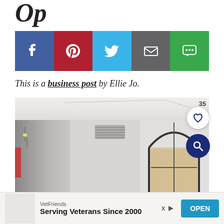Op
[Figure (infographic): Social sharing buttons: Facebook (blue), Pinterest (red), Twitter (light blue), Email (gray), SMS (green)]
This is a business post by Ellie Jo.
[Figure (photo): Interior room photo showing white walls, ceiling, corridor with lights, and an arched window or doorway on the right side. Overlaid with a heart/like button showing count 35 and a search button.]
VetFriends
Serving Veterans Since 2000
OPEN